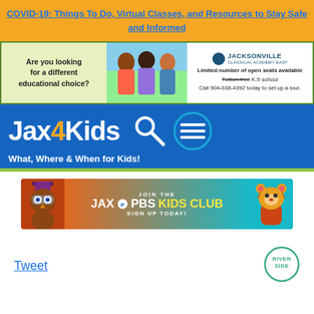COVID-19: Things To Do, Virtual Classes, and Resources to Stay Safe and Informed
[Figure (infographic): Jacksonville Classical Academy advertisement banner showing three children and school information: Limited number of open seats available, Tuition-free K-5 school, Call 904-638-4392 today to set up a tour.]
[Figure (logo): Jax4Kids website header banner with logo text 'Jax 4 Kids', search icon, menu icon, and tagline 'What, Where & When for Kids!' on blue background with green bar.]
[Figure (infographic): Jax PBS Kids Club advertisement banner with owl mascot and Daniel Tiger character. Text: JOIN THE JAX PBS KIDS CLUB, SIGN UP TODAY!]
Tweet
[Figure (logo): Riverside circular badge/logo with text RIVER SIDE]